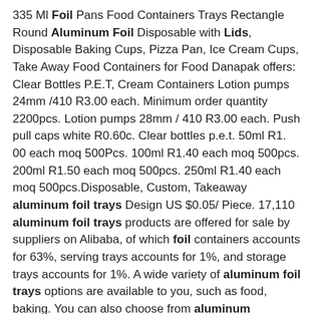335 Ml Foil Pans Food Containers Trays Rectangle Round Aluminum Foil Disposable with Lids, Disposable Baking Cups, Pizza Pan, Ice Cream Cups, Take Away Food Containers for Food Danapak offers: Clear Bottles P.E.T, Cream Containers Lotion pumps 24mm /410 R3.00 each. Minimum order quantity 2200pcs. Lotion pumps 28mm / 410 R3.00 each. Push pull caps white R0.60c. Clear bottles p.e.t. 50ml R1. 00 each moq 500Pcs. 100ml R1.40 each moq 500pcs. 200ml R1.50 each moq 500pcs. 250ml R1.40 each moq 500pcs.Disposable, Custom, Takeaway aluminum foil trays Design US $0.05/ Piece. 17,110 aluminum foil trays products are offered for sale by suppliers on Alibaba, of which foil containers accounts for 63%, serving trays accounts for 1%, and storage trays accounts for 1%. A wide variety of aluminum foil trays options are available to you, such as food, baking. You can also choose from aluminum aluminum#1 Manufacturer & Supplier of Aluminium Foil Container Wyda South Africa aluminium foil containers come in many shapes and sizes and are available for a huge range of applications specially for roasting, baking, cooking, catering or take-aways, including roasters, baking dishes, fruit flans, deep apple pies or large multi-portion catering desserts. We also offer a range of lid options